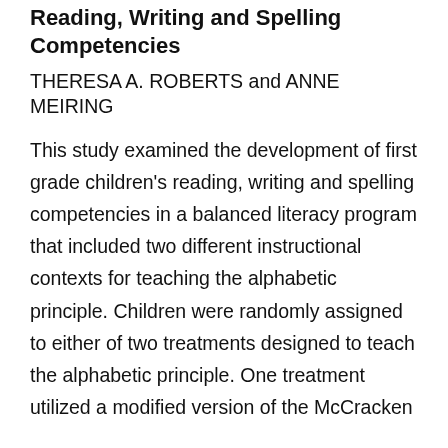Reading, Writing and Spelling Competencies
THERESA A. ROBERTS and ANNE MEIRING
This study examined the development of first grade children's reading, writing and spelling competencies in a balanced literacy program that included two different instructional contexts for teaching the alphabetic principle. Children were randomly assigned to either of two treatments designed to teach the alphabetic principle. One treatment utilized a modified version of the McCracken